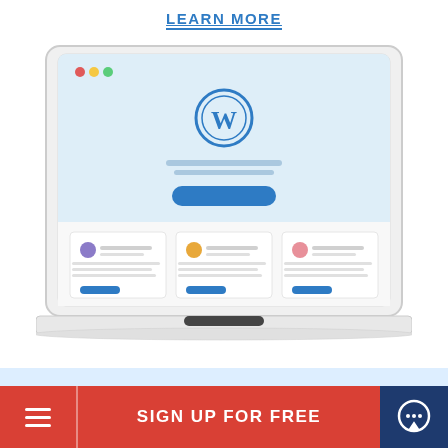LEARN MORE
[Figure (illustration): Laptop computer mockup showing a WordPress website. The laptop screen displays a WordPress login/landing page with the WordPress logo (circular W icon), input fields, and a blue button in a light blue header area. Below the header are three content cards each with a colored circle icon (purple, orange, pink), text lines, and a small blue button.]
SIGN UP FOR FREE